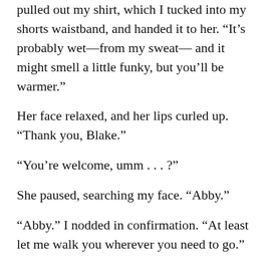pulled out my shirt, which I tucked into my shorts waistband, and handed it to her. “It’s probably wet—from my sweat— and it might smell a little funky, but you’ll be warmer.”
Her face relaxed, and her lips curled up. “Thank you, Blake.”
“You’re welcome, umm . . . ?”
She paused, searching my face. “Abby.”
“Abby.” I nodded in confirmation. “At least let me walk you wherever you need to go.”
She seemed to hesitate before nodding slowly. “I need to find my purse and my phone.” She studied me for a moment. “I don’t suppose you’re hiding a phone anywhere on you I can use for light?”